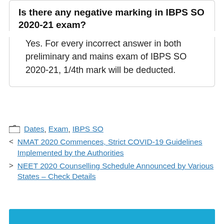Is there any negative marking in IBPS SO 2020-21 exam?
Yes. For every incorrect answer in both preliminary and mains exam of IBPS SO 2020-21, 1/4th mark will be deducted.
Dates, Exam, IBPS SO
< NMAT 2020 Commences, Strict COVID-19 Guidelines Implemented by the Authorities
> NEET 2020 Counselling Schedule Announced by Various States – Check Details